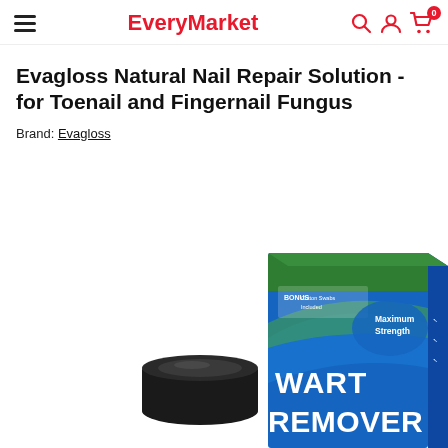EveryMarket
Evagloss Natural Nail Repair Solution - for Toenail and Fingernail Fungus
Brand: Evagloss
[Figure (photo): Product photo showing a black jar/container and a blue-green product box labeled 'WART REMOVER' with 'Maximum Strength' and 'BONUS Cotton Swabs Included' text on the packaging.]